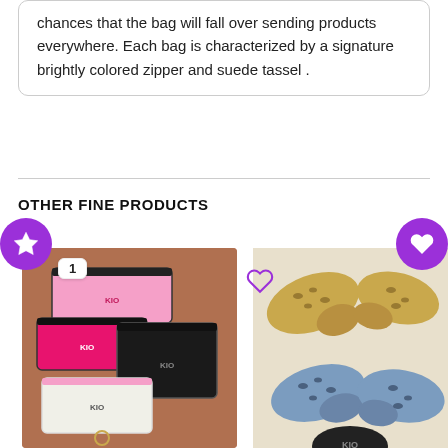chances that the bag will fall over sending products everywhere. Each bag is characterized by a signature brightly colored zipper and suede tassel .
OTHER FINE PRODUCTS
[Figure (photo): Photo of colorful small bags/pouches with zippers on a brick surface, with a number 1 badge]
[Figure (photo): Photo of leopard print no-show socks in mustard yellow and blue colors]